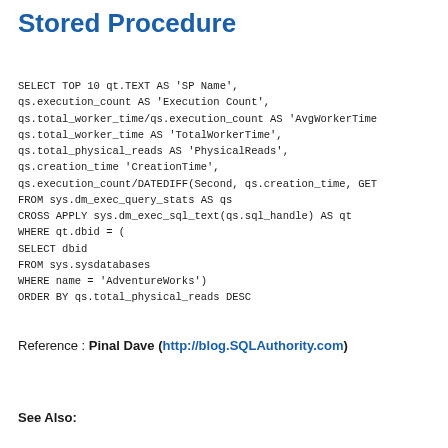Stored Procedure
SELECT TOP 10 qt.TEXT AS 'SP Name',
qs.execution_count AS 'Execution Count',
qs.total_worker_time/qs.execution_count AS 'AvgWorkerTime
qs.total_worker_time AS 'TotalWorkerTime',
qs.total_physical_reads AS 'PhysicalReads',
qs.creation_time 'CreationTime',
qs.execution_count/DATEDIFF(Second, qs.creation_time, GET
FROM sys.dm_exec_query_stats AS qs
CROSS APPLY sys.dm_exec_sql_text(qs.sql_handle) AS qt
WHERE qt.dbid = (
SELECT dbid
FROM sys.sysdatabases
WHERE name = 'AdventureWorks')
ORDER BY qs.total_physical_reads DESC
Reference : Pinal Dave (http://blog.SQLAuthority.com)
See Also: